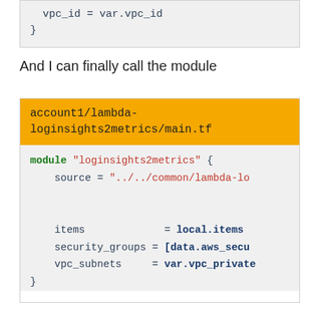[Figure (screenshot): Top portion of a code block showing closing brace of a Terraform resource with vpc_id = var.vpc_id and closing }]
And I can finally call the module
[Figure (screenshot): Code block with orange header 'account1/lambda-loginsights2metrics/main.tf' showing Terraform module call: module "loginsights2metrics" { source = "../../common/lambda-lo... items = local.items security_groups = [data.aws_secu... vpc_subnets = var.vpc_private... }]